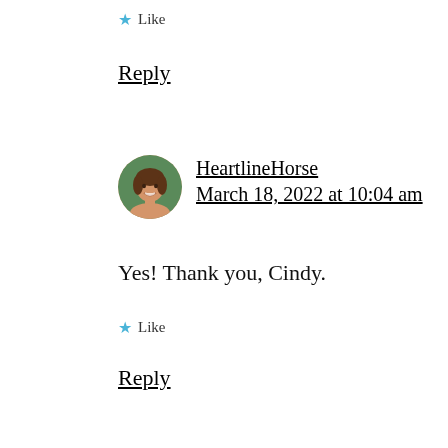★ Like
Reply
HeartlineHorse
March 18, 2022 at 10:04 am
Yes! Thank you, Cindy.
★ Like
Reply